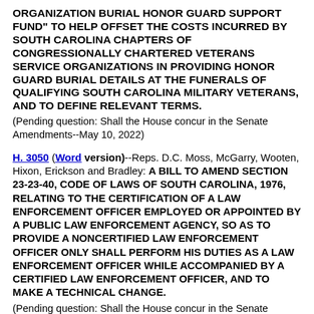ORGANIZATION BURIAL HONOR GUARD SUPPORT FUND" TO HELP OFFSET THE COSTS INCURRED BY SOUTH CAROLINA CHAPTERS OF CONGRESSIONALLY CHARTERED VETERANS SERVICE ORGANIZATIONS IN PROVIDING HONOR GUARD BURIAL DETAILS AT THE FUNERALS OF QUALIFYING SOUTH CAROLINA MILITARY VETERANS, AND TO DEFINE RELEVANT TERMS.
(Pending question: Shall the House concur in the Senate Amendments--May 10, 2022)
H. 3050 (Word version)--Reps. D.C. Moss, McGarry, Wooten, Hixon, Erickson and Bradley: A BILL TO AMEND SECTION 23-23-40, CODE OF LAWS OF SOUTH CAROLINA, 1976, RELATING TO THE CERTIFICATION OF A LAW ENFORCEMENT OFFICER EMPLOYED OR APPOINTED BY A PUBLIC LAW ENFORCEMENT AGENCY, SO AS TO PROVIDE A NONCERTIFIED LAW ENFORCEMENT OFFICER ONLY SHALL PERFORM HIS DUTIES AS A LAW ENFORCEMENT OFFICER WHILE ACCOMPANIED BY A CERTIFIED LAW ENFORCEMENT OFFICER, AND TO MAKE A TECHNICAL CHANGE.
(Pending question: Shall the House concur in the Senate Amendments--May 10, 2022)